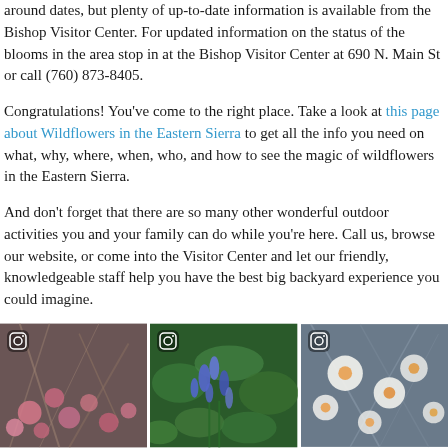around dates, but plenty of up-to-date information is available from the Bishop Visitor Center. For updated information on the status of the blooms in the area stop in at the Bishop Visitor Center at 690 N. Main St or call (760) 873-8405.
Congratulations! You've come to the right place. Take a look at this page about Wildflowers in the Eastern Sierra to get all the info you need on what, why, where, when, who, and how to see the magic of wildflowers in the Eastern Sierra.
And don't forget that there are so many other wonderful outdoor activities you and your family can do while you're here. Call us, browse our website, or come into the Visitor Center and let our friendly, knowledgeable staff help you have the best big backyard experience you could imagine.
[Figure (photo): Instagram photo of pink wildflowers with grey-brown dried branches]
[Figure (photo): Instagram photo of blue/purple wildflowers with green leaves]
[Figure (photo): Instagram photo of white wildflowers with orange centers]